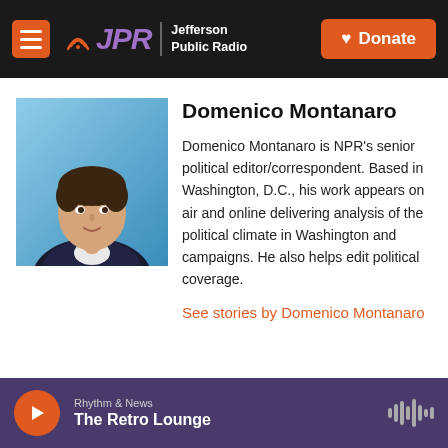JPR Jefferson Public Radio | Donate
[Figure (photo): Headshot of Domenico Montanaro, a man in a dark jacket against a blue background]
Domenico Montanaro
Domenico Montanaro is NPR's senior political editor/correspondent. Based in Washington, D.C., his work appears on air and online delivering analysis of the political climate in Washington and campaigns. He also helps edit political coverage.
See stories by Domenico Montanaro
Rhythm & News | The Retro Lounge